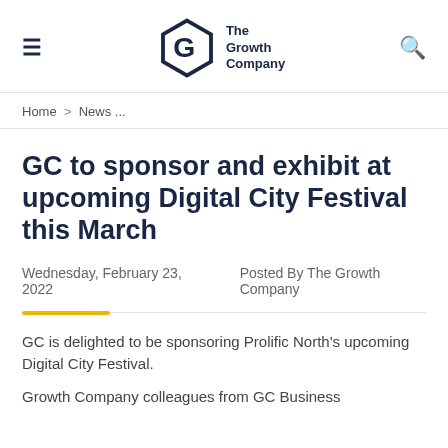The Growth Company — navigation header with hamburger menu and search icon
Home > News ...
GC to sponsor and exhibit at upcoming Digital City Festival this March
Wednesday, February 23, 2022   Posted By The Growth Company
GC is delighted to be sponsoring Prolific North's upcoming Digital City Festival.
Growth Company colleagues from GC Business...